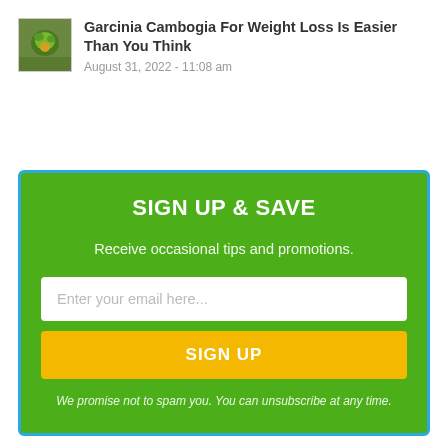Garcinia Cambogia For Weight Loss Is Easier Than You Think
August 31, 2022 - 11:08 am
SIGN UP & SAVE
Receive occasional tips and promotions.
Enter your email here...
SIGN UP
We promise not to spam you. You can unsubscribe at any time.